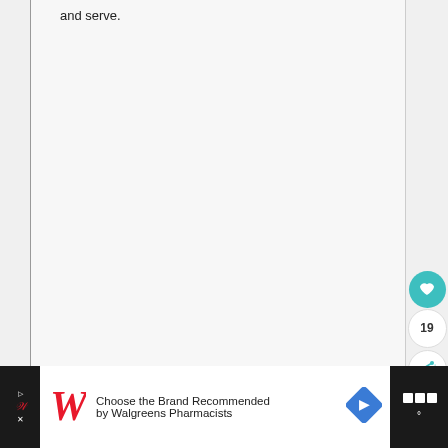and serve.
[Figure (screenshot): UI overlay with heart/favorite button (teal circle with heart icon), count badge showing 19, share button (white circle with share icon), and up-arrow scroll button on the right side of the page]
[Figure (screenshot): Advertisement bar at bottom: dark background on left and right, white center area showing Walgreens ad. Red italic W logo with triangle icon, text 'Choose the Brand Recommended by Walgreens Pharmacists', blue diamond arrow icon on right, dark right section with Waze-style icon]